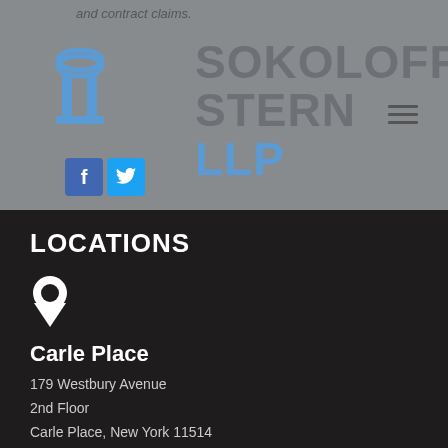and contract claims.
[Figure (logo): Sokoloff Stern LLP law firm logo with decorative column icon and firm name in grey and blue]
LOCATIONS
[Figure (illustration): Map pin / location marker icon]
Carle Place
179 Westbury Avenue
2nd Floor
Carle Place, New York 11514
[Figure (illustration): Map pin / location marker icon]
Goshen